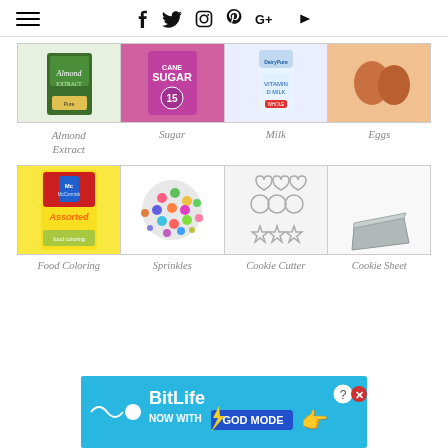Navigation bar with hamburger menu and social icons: Facebook, Twitter, Instagram, Pinterest, Google+, YouTube
[Figure (photo): Grid of ingredient photos: Almond Extract bottle, Cane Sugar bag, Milk carton, two brown Eggs]
Almond Extract   Sugar   Milk   Eggs
[Figure (photo): Grid of baking supply photos: McCormick Assorted Food Coloring box, colorful Sprinkles, Cookie Cutter set, Cookie Sheet pan]
Food Coloring   Sprinkles   Cookie Cutter   Cookie Sheet
[Figure (other): Advertisement banner: BitLife Now With GOD MODE]